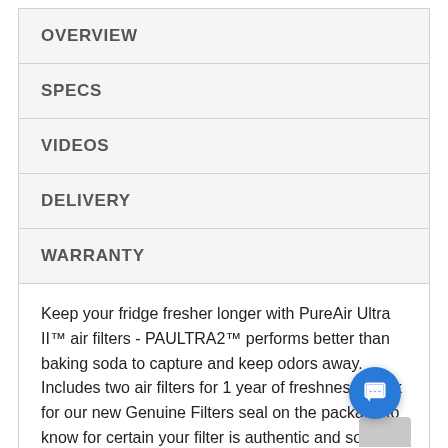OVERVIEW
SPECS
VIDEOS
DELIVERY
WARRANTY
Keep your fridge fresher longer with PureAir Ultra II™ air filters - PAULTRA2™ performs better than baking soda to capture and keep odors away. Includes two air filters for 1 year of freshness. Look for our new Genuine Filters seal on the package to know for certain your filter is authentic and sold by Frigidaire. Frigidaire Genuine Filters ™ the smarter, fresh choice.